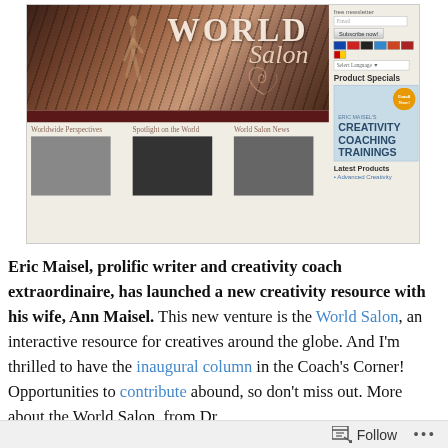[Figure (screenshot): Screenshot of the World Salon website showing a banner with 'WORLD Salon' text over a forest background with a dancer figure, navigation sections (Worldwide Perspectives, Spotlight on the World, World Salon News) with grayscale thumbnail images, and a right sidebar with newsletter signup, language selector, Product Specials featuring Eric Maisel's Creativity Coaching Trainings book, and Latest Products section.]
Eric Maisel, prolific writer and creativity coach extraordinaire, has launched a new creativity resource with his wife, Ann Maisel. This new venture is the World Salon, an interactive resource for creatives around the globe. And I'm thrilled to have the inaugural column in the Coach's Corner! Opportunities to contribute abound, so don't miss out. More about the World Salon, from Dr.
Follow ...